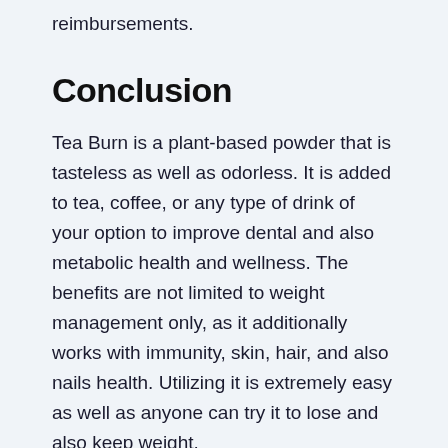reimbursements.
Conclusion
Tea Burn is a plant-based powder that is tasteless as well as odorless. It is added to tea, coffee, or any type of drink of your option to improve dental and also metabolic health and wellness. The benefits are not limited to weight management only, as it additionally works with immunity, skin, hair, and also nails health. Utilizing it is extremely easy as well as anyone can try it to lose and also keep weight.
It is currently available for a discounted cost, as well as the firm is additionally selling bundle packs.